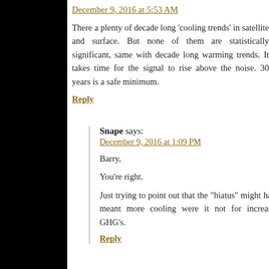December 9, 2016 at 5:53 AM
There a plenty of decade long ‘cooling trends’ in satellite and surface. But none of them are statistically significant, same with decade long warming trends. It takes time for the signal to rise above the noise. 30 years is a safe minimum.
Reply
Snape says:
December 9, 2016 at 1:09 PM
Barry,
You’re right.
Just trying to point out that the “hiatus” might have meant more cooling were it not for increased GHG’s.
Reply